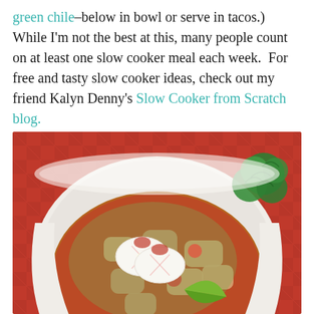green chile–below in bowl or serve in tacos.) While I'm not the best at this, many people count on at least one slow cooker meal each week.  For free and tasty slow cooker ideas, check out my friend Kalyn Denny's Slow Cooker from Scratch blog.
[Figure (photo): A white bowl filled with slow cooker green chile pork stew, garnished with sliced radishes, a lime wedge, and fresh cilantro. The bowl is set on a colorful patterned cloth.]